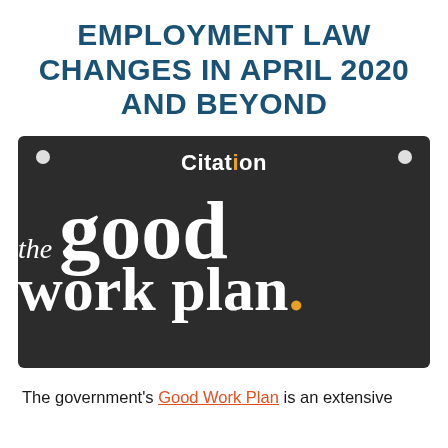EMPLOYMENT LAW CHANGES IN APRIL 2020 AND BEYOND
[Figure (logo): Dark background panel with 'Citation' branding at top, two white circular dots in corners, and large serif white text reading 'the good work plan.' with an orange period.]
The government's Good Work Plan is an extensive programme of employment law reforms which...